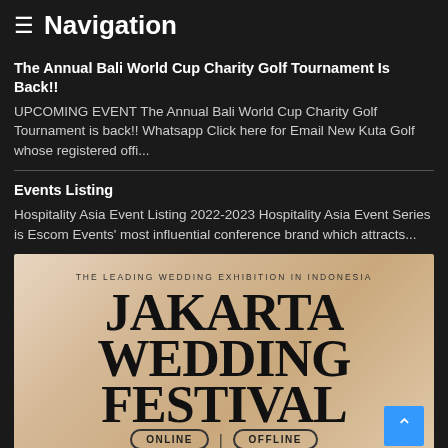≡ Navigation
The Annual Bali World Cup Charity Golf Tournament Is Back!!
UPCOMING EVENT The Annual Bali World Cup Charity Golf Tournament is back!! Whatsapp Click here for Email New Kuta Golf whose registered offi...
Events Listing
Hospitality Asia Event Listing 2022-2023 Hospitality Asia Event Series is Escom Events' most influential conference brand which attracts...
[Figure (illustration): Jakarta Wedding Festival promotional banner. Text reads: 'THE LEADING WEDDING EXHIBITION IN INDONESIA' above large bold serif text 'JAKARTA WEDDING FESTIVAL'. At bottom are two rounded pill badges reading 'ONLINE' and 'OFFLINE' separated by a vertical bar.]